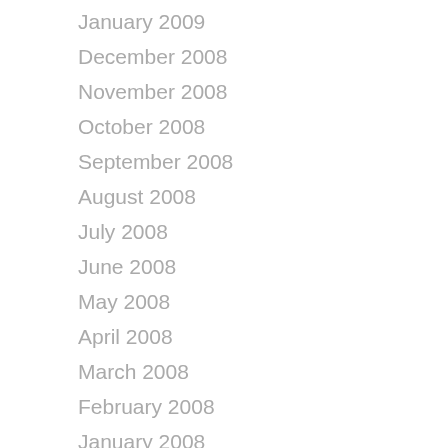January 2009
December 2008
November 2008
October 2008
September 2008
August 2008
July 2008
June 2008
May 2008
April 2008
March 2008
February 2008
January 2008
December 2007
November 2007
October 2007
September 2007